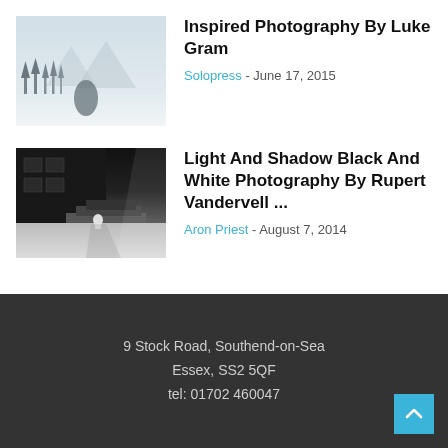[Figure (photo): Winter landscape with snow-covered trees and misty mountains]
Inspired Photography By Luke Gram
Solopress - June 17, 2015
[Figure (photo): Black and white photo of a figure on geometric steps with strong light and shadow]
Light And Shadow Black And White Photography By Rupert Vandervell ...
Aron Priest - August 7, 2014
9 Stock Road, Southend-on-Sea
Essex, SS2 5QF
tel: 01702 460047